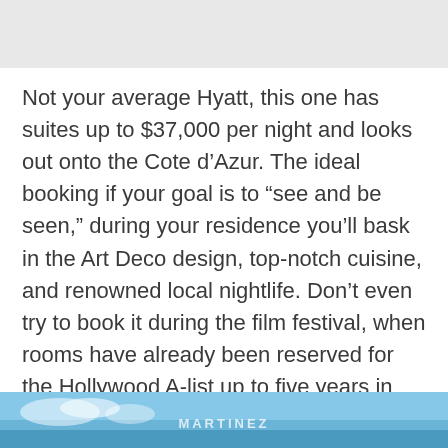Not your average Hyatt, this one has suites up to $37,000 per night and looks out onto the Cote d’Azur. The ideal booking if your goal is to “see and be seen,” during your residence you’ll bask in the Art Deco design, top-notch cuisine, and renowned local nightlife. Don’t even try to book it during the film festival, when rooms have already been reserved for the Hollywood A-list up to five years in advance.
[Figure (photo): Partial view of a photo at the bottom of the page showing what appears to be an outdoor scene with blue sky and some text/logo visible]